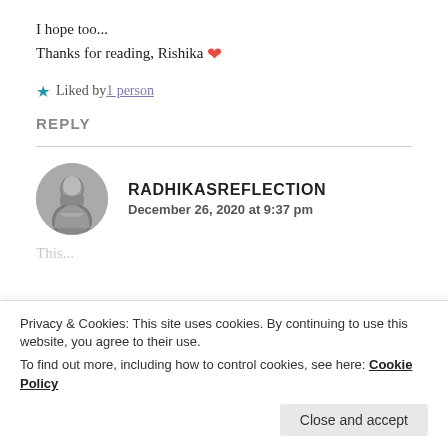I hope too...
Thanks for reading, Rishika ❤
★ Liked by 1 person
REPLY
RADHIKASREFLECTION
December 26, 2020 at 9:37 pm
[Figure (photo): Circular avatar photo of a person in black and white]
Thi...
Privacy & Cookies: This site uses cookies. By continuing to use this website, you agree to their use.
To find out more, including how to control cookies, see here: Cookie Policy
Close and accept